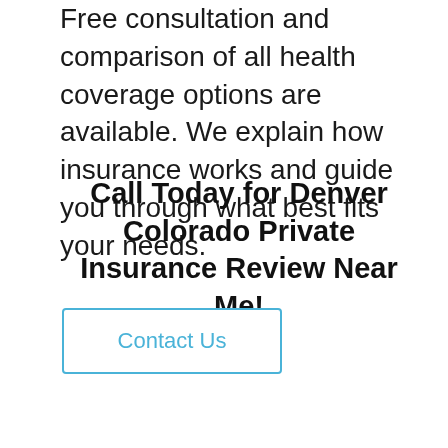Free consultation and comparison of all health coverage options are available. We explain how insurance works and guide you through what best fits your needs.
Call Today for Denver Colorado Private Insurance Review Near Me!
Contact Us